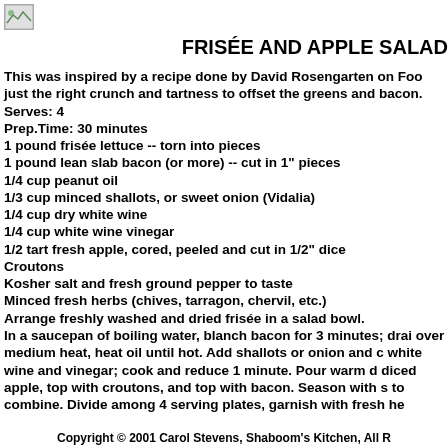[Figure (logo): Small image placeholder/logo in top left corner]
FRISÉE AND APPLE SALAD
This was inspired by a recipe done by David Rosengarten on Foo just the right crunch and tartness to offset the greens and bacon.
Serves: 4
Prep.Time: 30 minutes
1 pound frisée lettuce -- torn into pieces
1 pound lean slab bacon (or more) -- cut in 1" pieces
1/4 cup peanut oil
1/3 cup minced shallots, or sweet onion (Vidalia)
1/4 cup dry white wine
1/4 cup white wine vinegar
1/2 tart fresh apple, cored, peeled and cut in 1/2" dice
Croutons
Kosher salt and fresh ground pepper to taste
Minced fresh herbs (chives, tarragon, chervil, etc.)
Arrange freshly washed and dried frisée in a salad bowl.
In a saucepan of boiling water, blanch bacon for 3 minutes; drai over medium heat, heat oil until hot. Add shallots or onion and c white wine and vinegar; cook and reduce 1 minute. Pour warm d diced apple, top with croutons, and top with bacon. Season with s to combine. Divide among 4 serving plates, garnish with fresh he
Copyright © 2001 Carol Stevens, Shaboom's Kitchen, All R